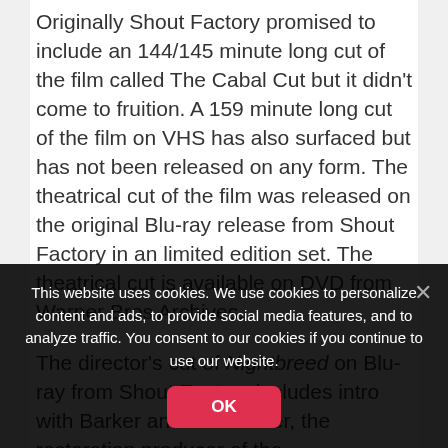Originally Shout Factory promised to include an 144/145 minute long cut of the film called The Cabal Cut but it didn't come to fruition. A 159 minute long cut of the film on VHS has also surfaced but has not been released on any form. The theatrical cut of the film was released on the original Blu-ray release from Shout Factory in an limited edition set. The theatrical cut is available on DVD from Warner Bros Archives.
The director's cut of Nightbreed on Blu-ray from Shout Factory includes intro with Barker and Mark Miller, the restoration producer of the
This website uses cookies. We use cookies to personalize content and ads, to provide social media features, and to analyze traffic. You consent to our cookies if you continue to use our website.